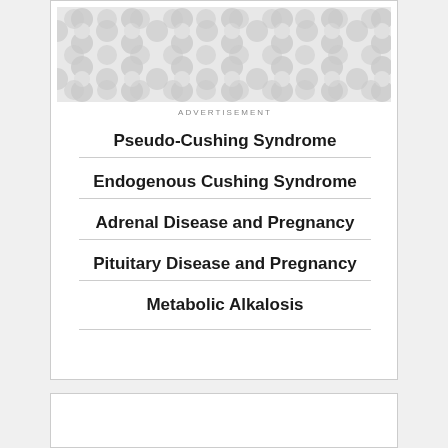[Figure (other): Advertisement banner with decorative circular pattern in grey tones]
ADVERTISEMENT
Pseudo-Cushing Syndrome
Endogenous Cushing Syndrome
Adrenal Disease and Pregnancy
Pituitary Disease and Pregnancy
Metabolic Alkalosis
NEWS & PERSPECTIVE
[Figure (photo): Two photos side by side: left shows a blood pressure gauge with black bulb; right shows a fork and screwdriver on light background]